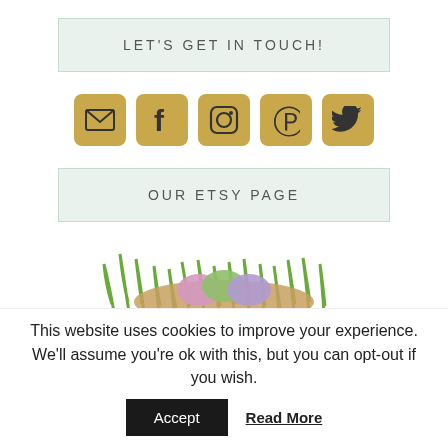LET'S GET IN TOUCH!
[Figure (infographic): Row of five golden/tan rounded square icon buttons: email envelope, Facebook f, Instagram camera, Pinterest P, Twitter bird]
OUR ETSY PAGE
[Figure (illustration): Partial illustration of a nest with colorful eggs and green grass at the bottom of the page]
This website uses cookies to improve your experience. We'll assume you're ok with this, but you can opt-out if you wish.
Accept  Read More